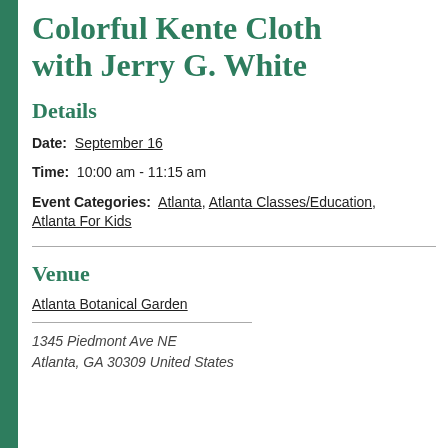Colorful Kente Cloth with Jerry G. White
Details
Date: September 16
Time: 10:00 am - 11:15 am
Event Categories: Atlanta, Atlanta Classes/Education, Atlanta For Kids
Venue
Atlanta Botanical Garden
1345 Piedmont Ave NE
Atlanta, GA 30309 United States